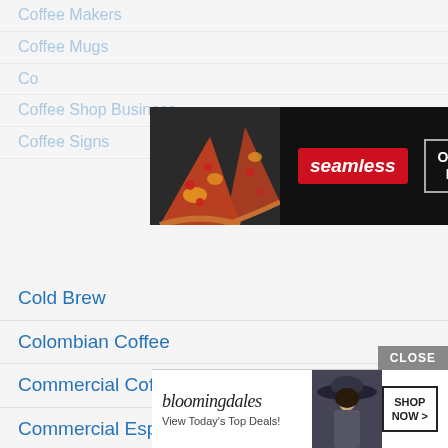Coffee Makers
Coffee Mugs
Co...
Coffee Shop Business
Coffee Signs
[Figure (screenshot): Seamless food delivery advertisement banner showing pizza slices with red Seamless logo and ORDER NOW button on dark background]
Cold Brew
Colombian Coffee
Commercial Coffee & Espresso Grinders
Commercial Espresso Machines
Cuisinart
Ditting
Elektra
Espresso
Espresso Machine Parts
Espresso Machines
Fae...
E...
[Figure (screenshot): Bloomingdales advertisement banner with italic logo, 'View Today's Top Deals!' text, model with hat, and SHOP NOW button]
CLOSE